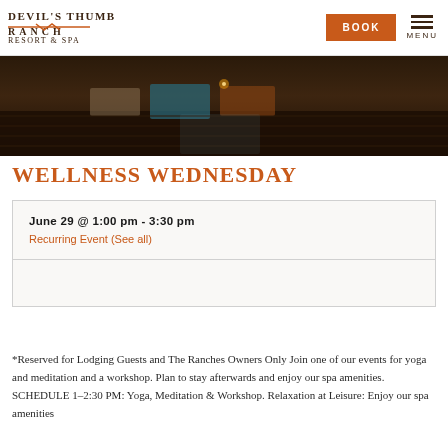DEVIL'S THUMB RANCH RESORT & SPA | BOOK | MENU
[Figure (photo): Dark moody interior photo of a yoga/meditation room with wooden floors, colored mats and candles on the floor]
WELLNESS WEDNESDAY
June 29 @ 1:00 pm - 3:30 pm
Recurring Event (See all)
*Reserved for Lodging Guests and The Ranches Owners Only Join one of our events for yoga and meditation and a workshop. Plan to stay afterwards and enjoy our spa amenities. SCHEDULE 1–2:30 PM: Yoga, Meditation & Workshop. Relaxation at Leisure: Enjoy our spa amenities